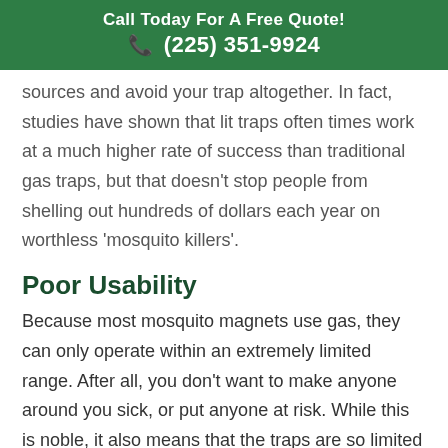Call Today For A Free Quote!
☎ (225) 351-9924
sources and avoid your trap altogether. In fact, studies have shown that lit traps often times work at a much higher rate of success than traditional gas traps, but that doesn't stop people from shelling out hundreds of dollars each year on worthless 'mosquito killers'.
Poor Usability
Because most mosquito magnets use gas, they can only operate within an extremely limited range. After all, you don't want to make anyone around you sick, or put anyone at risk. While this is noble, it also means that the traps are so limited in what they can